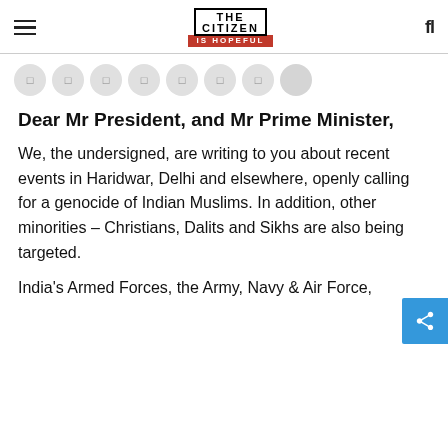THE CITIZEN IS HOPEFUL
[Figure (other): Row of 8 circular social media / share icon buttons in light grey]
Dear Mr President, and Mr Prime Minister,
We, the undersigned, are writing to you about recent events in Haridwar, Delhi and elsewhere, openly calling for a genocide of Indian Muslims. In addition, other minorities – Christians, Dalits and Sikhs are also being targeted.
India's Armed Forces, the Army, Navy & Air Force,